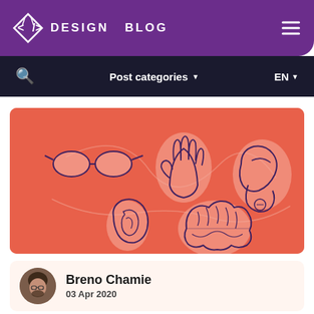DESIGN BLOG
Post categories   EN
[Figure (illustration): Red/coral background illustration showing line-drawn icons of body parts and senses: glasses (vision), hand (touch), flexing arm (strength), ear (hearing), brain (mind) — connected by flowing lines]
Breno Chamie
03 Apr 2020